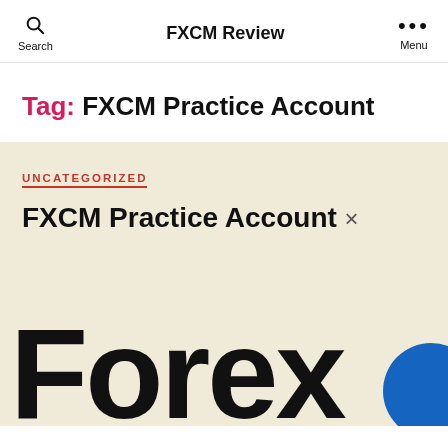FXCM Review
Tag: FXCM Practice Account
UNCATEGORIZED
FXCM Practice Account ×
[Figure (screenshot): Large bold text reading 'Forex' in black, partially cropped, with a blue circular logo element visible at right edge. This is a screenshot from the FXCM website article page.]